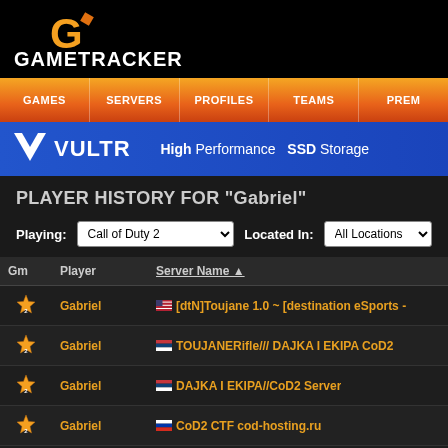[Figure (logo): GameTracker logo with 'G' icon in gold/orange and white GAMETRACKER text]
GAMES | SERVERS | PROFILES | TEAMS | PREM
[Figure (logo): VULTR banner ad: white V logo, VULTR text, High Performance SSD Storage]
PLAYER HISTORY FOR "Gabriel"
Playing: Call of Duty 2   Located In: All Locations
| Gm | Player | Server Name ▲ |
| --- | --- | --- |
| ★₂ | Gabriel | 🇺🇸 [dtN]Toujane 1.0 ~ [destination eSports - |
| ★₂ | Gabriel | 🇷🇸 TOUJANERifle/// DAJKA I EKIPA CoD2 |
| ★₂ | Gabriel | 🇷🇸 DAJKA I EKIPA//CoD2 Server |
| ★₂ | Gabriel | 🇷🇺 CoD2 CTF cod-hosting.ru |
| ★₂ | Gabriel | 🇺🇸 =|h4x|=Zombies !! Server Clan<h4x>Moc |
| ★₂ | Gabriel | 🇩🇪 =|h4x|=eXtreme+ | Classic+ | Mw+Perks |